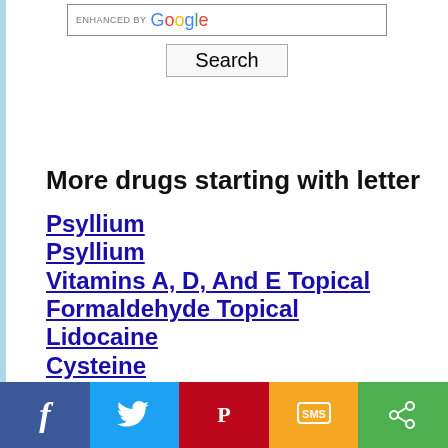[Figure (screenshot): Google search bar with 'ENHANCED BY Google' text and a Search button below]
More drugs starting with letter
Psyllium
Psyllium
Vitamins A, D, And E Topical
Formaldehyde Topical
Lidocaine
Cysteine
Leader Acid Reducer
Leader Allergy Relief D-24
Emollients, Topical